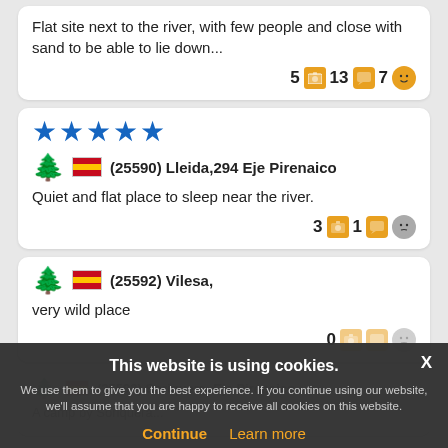Flat site next to the river, with few people and close with sand to be able to lie down...
5 📷 13 💬 7 😊
★★★★★ (25590) Lleida,294 Eje Pirenaico
Quiet and flat place to sleep near the river.
3 📷 1 💬 😐
(25592) Vilesa,
very wild place
0
(25593) Soriquera, Eje Pirenaico
A camp by Soriquera...
This website is using cookies. We use them to give you the best experience. If you continue using our website, we'll assume that you are happy to receive all cookies on this website.
Continue  Learn more